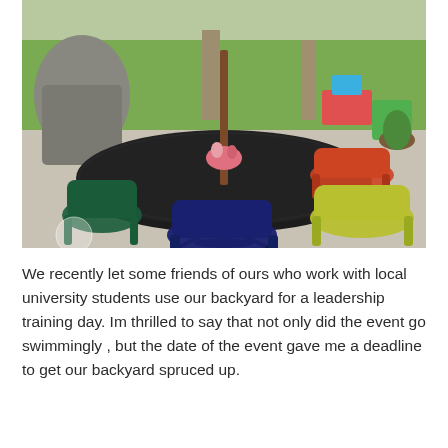[Figure (photo): Outdoor patio scene with a round black metal mesh table with a center umbrella pole, surrounded by colorful metal wire chairs in dark green, navy blue, orange/red, and yellow-green. Background shows a green lawn, concrete patio, and garden items.]
We recently let some friends of ours who work with local university students use our backyard for a leadership training day. Im thrilled to say that not only did the event go swimmingly , but the date of the event gave me a deadline to get our backyard spruced up.